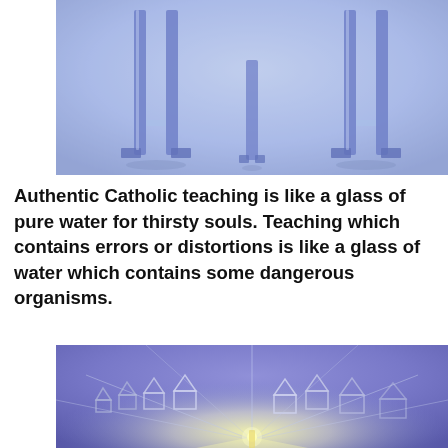[Figure (illustration): Watercolor illustration with blue-purple washes showing tall vertical pillar or column structures (resembling glasses or pillars) standing on a light blue textured background, suggesting water glasses in a painterly style.]
Authentic Catholic teaching is like a glass of pure water for thirsty souls. Teaching which contains errors or distortions is like a glass of water which contains some dangerous organisms.
[Figure (illustration): Watercolor illustration with blue-purple washes showing small house shapes arranged in rows, with diagonal lines converging toward a glowing yellow light source at center-bottom, suggesting a town or neighborhood viewed from above with a star or beacon of light.]